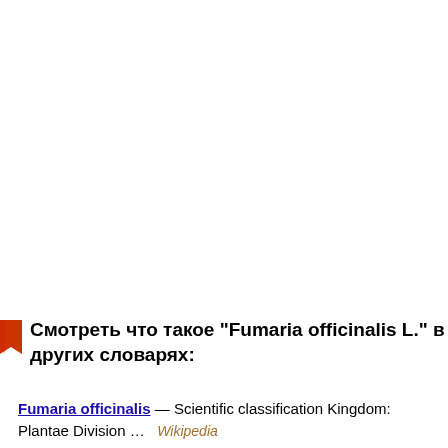Смотреть что такое "Fumaria officinalis L." в других словарях:
Fumaria officinalis — Scientific classification Kingdom: Plantae Division …   Wikipedia